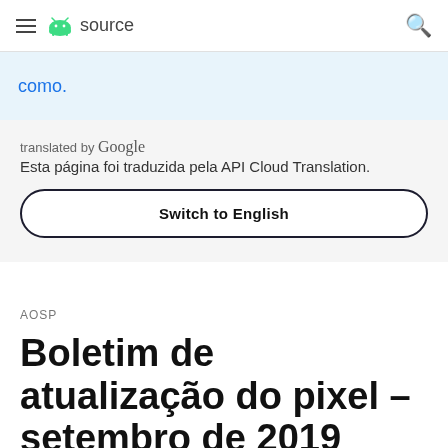≡ source Q
como.
translated by Google
Esta página foi traduzida pela API Cloud Translation.
Switch to English
AOSP
Boletim de atualização do pixel – setembro de 2019